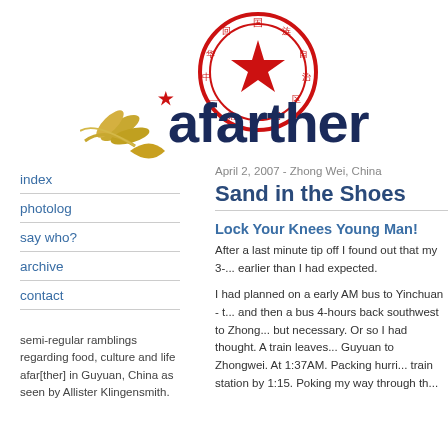[Figure (logo): Afarther blog logo with Chinese circular seal stamp in red, wheat/grain illustration in gold, small red star, and 'afarther' in large dark navy bold text]
index
photolog
say who?
archive
contact
semi-regular ramblings regarding food, culture and life afar[ther] in Guyuan, China as seen by Allister Klingensmith.
April 2, 2007 - Zhong Wei, China
Sand in the Shoes
Lock Your Knees Young Man!
After a last minute tip off I found out that my 3-... earlier than I had expected.
I had planned on a early AM bus to Yinchuan - t... and then a bus 4-hours back southwest to Zhong... but necessary. Or so I had thought. A train leaves... Guyuan to Zhongwei. At 1:37AM. Packing hurri... train station by 1:15. Poking my way through th...